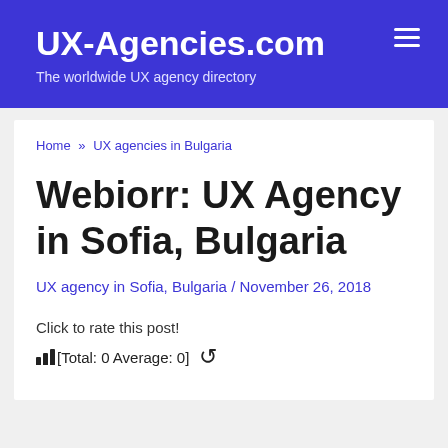UX-Agencies.com — The worldwide UX agency directory
Home » UX agencies in Bulgaria
Webiorr: UX Agency in Sofia, Bulgaria
UX agency in Sofia, Bulgaria / November 26, 2018
Click to rate this post!
[Total: 0 Average: 0]